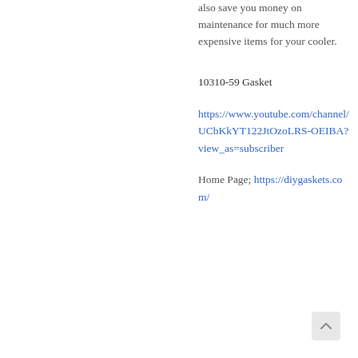also save you money on maintenance for much more expensive items for your cooler.
10310-59 Gasket
https://www.youtube.com/channel/UCbKkYT122JtOzoLRS-OEIBA?view_as=subscriber
Home Page; https://diygaskets.com/